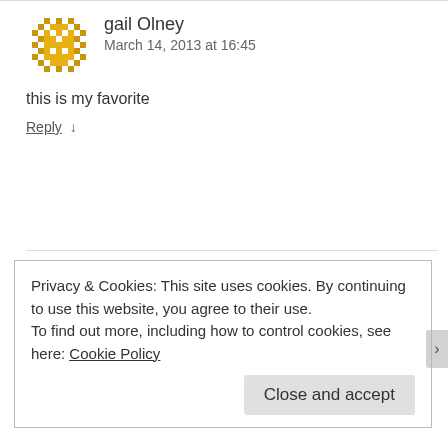[Figure (illustration): Golden/yellow pixel art avatar for gail Olney]
gail Olney
March 14, 2013 at 16:45
this is my favorite
Reply ↓
[Figure (illustration): Purple pixel art avatar for Joyce Carter]
Joyce Carter
March 11, 2013 at 08:08
Privacy & Cookies: This site uses cookies. By continuing to use this website, you agree to their use.
To find out more, including how to control cookies, see here: Cookie Policy
Close and accept